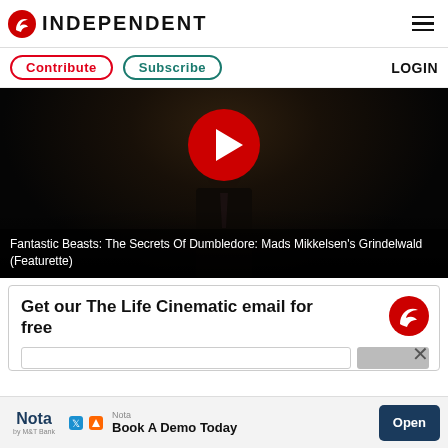INDEPENDENT
Contribute  Subscribe  LOGIN
[Figure (screenshot): Dark video thumbnail showing a man in a suit with a red play button overlay. Title: Fantastic Beasts: The Secrets Of Dumbledore: Mads Mikkelsen's Grindelwald (Featurette)]
Fantastic Beasts: The Secrets Of Dumbledore: Mads Mikkelsen's Grindelwald (Featurette)
Get our The Life Cinematic email for free
[Figure (logo): Independent eagle logo (red circle)]
Nota — Book A Demo Today — Open